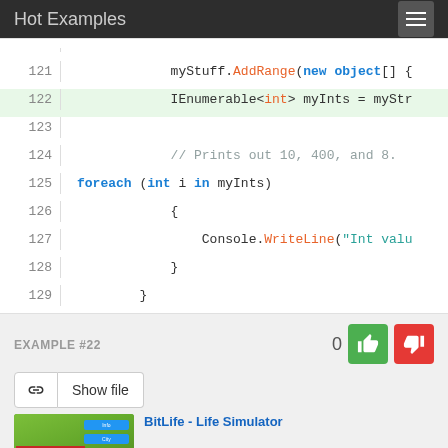Hot Examples
[Figure (screenshot): Code viewer showing C# code lines 121-129 with syntax highlighting. Line 122 is highlighted green. Code shows: myStuff.AddRange(new object[] { on line 121, IEnumerable<int> myInts = myStu... on 122, blank 123, // Prints out 10, 400, and 8. on 124, foreach (int i in myInts) on 125, { on 126, Console.WriteLine("Int valu... on 127, } on 128, } on 129]
EXAMPLE #22
[Figure (screenshot): BitLife - Life Simulator advertisement image showing game screenshot with green textured background and blue UI bars]
BitLife - Life Simulator
Ad